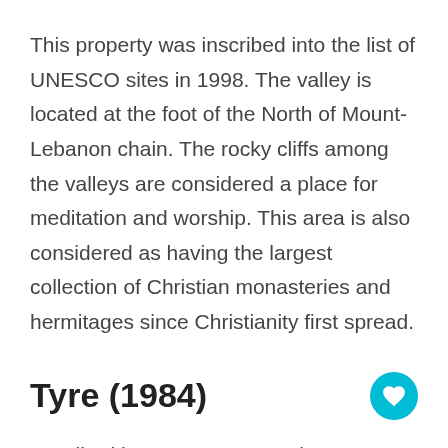This property was inscribed into the list of UNESCO sites in 1998. The valley is located at the foot of the North of Mount-Lebanon chain. The rocky cliffs among the valleys are considered a place for meditation and worship. This area is also considered as having the largest collection of Christian monasteries and hermitages since Christianity first spread.
Tyre (1984)
Inscribed in 1984, Tyre completes the li of UNESCO World Heritage Sites in